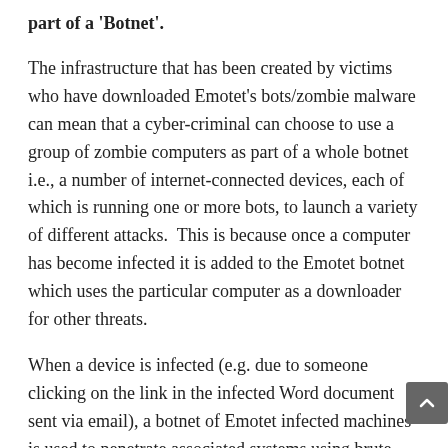part of a 'Botnet'.
The infrastructure that has been created by victims who have downloaded Emotet's bots/zombie malware can mean that a cyber-criminal can choose to use a group of zombie computers as part of a whole botnet i.e., a number of internet-connected devices, each of which is running one or more bots, to launch a variety of different attacks.  This is because once a computer has become infected it is added to the Emotet botnet which uses the particular computer as a downloader for other threats.
When a device is infected (e.g. due to someone clicking on the link in the infected Word document sent via email), a botnet of Emotet infected machines is used to penetrate associated systems using brute-force attacks (DDoS, mass spam emails, click fraud in adverts and